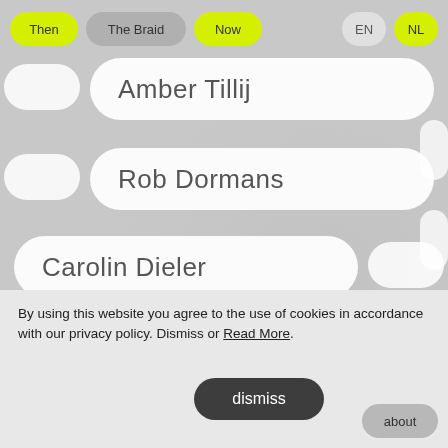Then  The Braid  Now  EN  NL
Amber Tillij
Rob Dormans
Carolin Dieler
Larissa Theuns
dismiss
By using this website you agree to the use of cookies in accordance with our privacy policy. Dismiss or Read More.
about